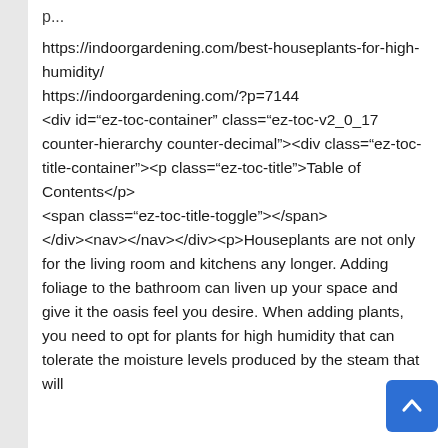https://indoorgardening.com/best-houseplants-for-high-humidity/
https://indoorgardening.com/?p=7144
<div id="ez-toc-container" class="ez-toc-v2_0_17 counter-hierarchy counter-decimal"><div class="ez-toc-title-container"><p class="ez-toc-title">Table of Contents</p><span class="ez-toc-title-toggle"></span></div><nav></nav></div><p>Houseplants are not only for the living room and kitchens any longer. Adding foliage to the bathroom can liven up your space and give it the oasis feel you desire. When adding plants, you need to opt for plants for high humidity that can tolerate the moisture levels produced by the steam that will